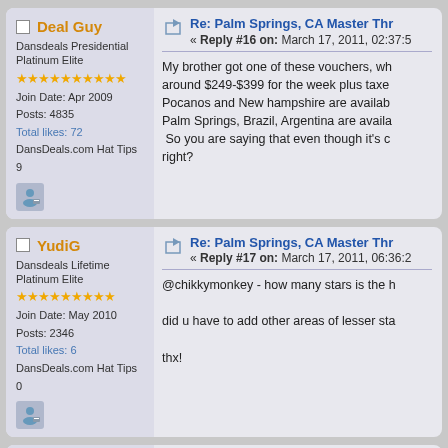Deal Guy
Dansdeals Presidential Platinum Elite
Join Date: Apr 2009
Posts: 4835
Total likes: 72
DansDeals.com Hat Tips 9
Re: Palm Springs, CA Master Thr — Reply #16 on: March 17, 2011, 02:37:5
My brother got one of these vouchers, wh... around $249-$399 for the week plus taxe... Pocanos and New hampshire are availab... Palm Springs, Brazil, Argentina are availa... So you are saying that even though it's c... right?
YudiG
Dansdeals Lifetime Platinum Elite
Join Date: May 2010
Posts: 2346
Total likes: 6
DansDeals.com Hat Tips 0
Re: Palm Springs, CA Master Thr — Reply #17 on: March 17, 2011, 06:36:2
@chikkymonkey - how many stars is the h...
did u have to add other areas of lesser st...
thx!
LAXtraveler
Dansdeals Lifetime Platinum Elite
Re: Palm Springs, CA Master Thr — Reply #18 on: March 17, 2011, 08:53:1